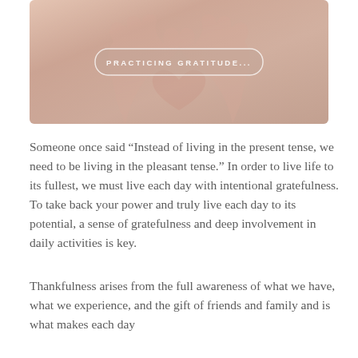[Figure (photo): Photo of hands forming a heart shape, with a semi-transparent pill-shaped label overlay reading 'PRACTICING GRATITUDE...']
Someone once said “Instead of living in the present tense, we need to be living in the pleasant tense.” In order to live life to its fullest, we must live each day with intentional gratefulness. To take back your power and truly live each day to its potential, a sense of gratefulness and deep involvement in daily activities is key.
Thankfulness arises from the full awareness of what we have, what we experience, and the gift of friends and family and is what makes each day